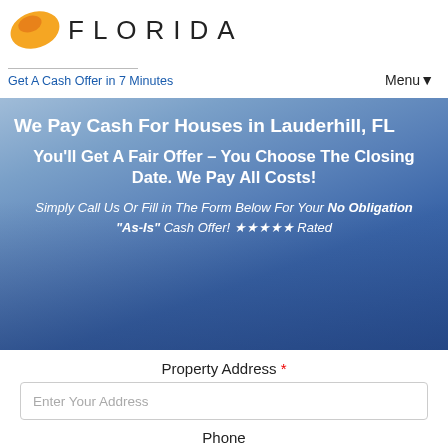FLORIDA
Get A Cash Offer in 7 Minutes
Menu ▼
We Pay Cash For Houses in Lauderhill, FL
You'll Get A Fair Offer – You Choose The Closing Date. We Pay All Costs!
Simply Call Us Or Fill in The Form Below For Your No Obligation "As-Is" Cash Offer! ★★★★★ Rated
Property Address *
Enter Your Address
Phone